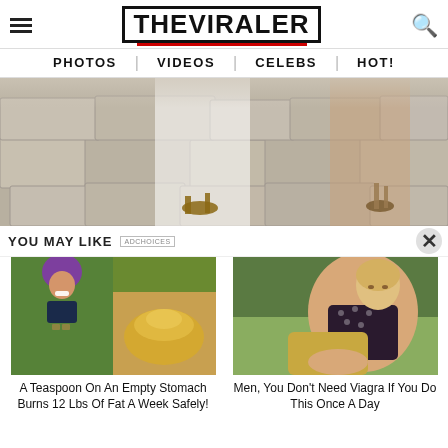THE VIRALER
PHOTOS | VIDEOS | CELEBS | HOT!
[Figure (photo): Two people walking on rocky stone ground, wearing sandals, one in white clothing]
YOU MAY LIKE
[Figure (photo): A Teaspoon On An Empty Stomach Burns 12 Lbs Of Fat A Week Safely!]
A Teaspoon On An Empty Stomach Burns 12 Lbs Of Fat A Week Safely!
[Figure (photo): Men, You Don't Need Viagra If You Do This Once A Day]
Men, You Don't Need Viagra If You Do This Once A Day